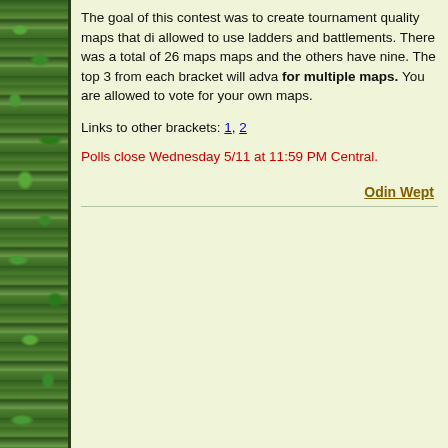The goal of this contest was to create tournament quality maps that di... allowed to use ladders and battlements. There was a total of 26 maps... maps and the others have nine. The top 3 from each bracket will adva... for multiple maps. You are allowed to vote for your own maps.
Links to other brackets: 1, 2
Polls close Wednesday 5/11 at 11:59 PM Central.
Odin Wept